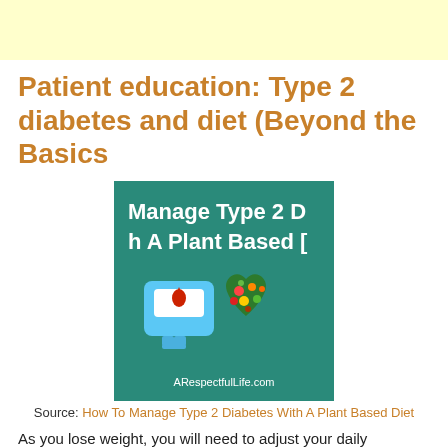Patient education: Type 2 diabetes and diet (Beyond the Basics
[Figure (photo): Promotional image with teal background showing text 'Manage Type 2 D... h A Plant Based D...' with a glucose meter icon, a heart-shaped arrangement of vegetables, and the URL ARespectfulLife.com]
Source: How To Manage Type 2 Diabetes With A Plant Based Diet
As you lose weight, you will need to adjust your daily recommended calorie intake accordingly. Avoiding weight gain – Some treatments for type …
Diabetes type 2 – meal planning: